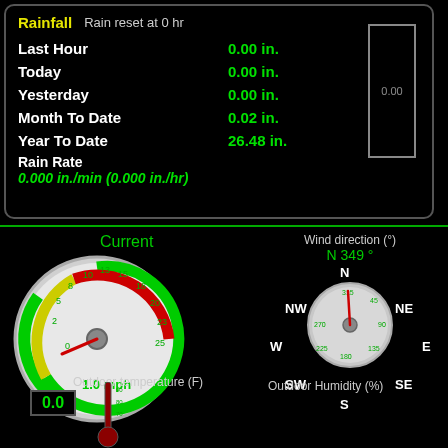Rainfall   Rain reset at 0 hr
Last Hour   0.00 in.
Today   0.00 in.
Yesterday   0.00 in.
Month To Date   0.02 in.
Year To Date   26.48 in.
Rain Rate
0.000 in./min (0.000 in./hr)
[Figure (other): Rain gauge bar showing 0.00]
[Figure (other): Wind speed gauge showing 1.0 mph with green/yellow/red arc dial]
Current
Wind direction (°)
N 349 °
[Figure (other): Compass rose with direction dial pointing N 349 degrees, surrounded by N, NW, NE, W, E, SW, SE, S labels]
Outdoor temperature (F)
0.0
Outdoor Humidity (%)